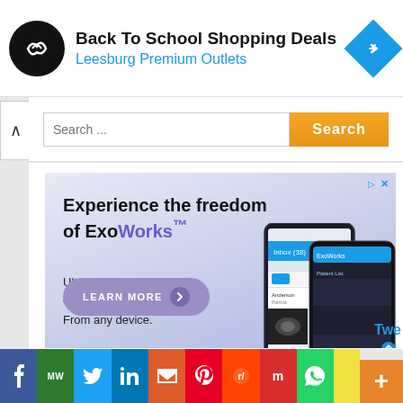[Figure (screenshot): Top advertisement banner for Back To School Shopping Deals at Leesburg Premium Outlets, with circular black logo and blue diamond navigation icon]
[Figure (screenshot): Search bar with up arrow button, text input field placeholder 'Search...' and orange Search button]
[Figure (screenshot): ExoWorks advertisement: 'Experience the freedom of ExoWorks TM' with ultrasound workflow text, Learn More button, and phone mockup showing ultrasound app]
[Figure (screenshot): Social media sharing bar with buttons for Facebook, MW, Twitter, LinkedIn, Email, Pinterest, Reddit, Mix, WhatsApp, and yellow button]
Twe